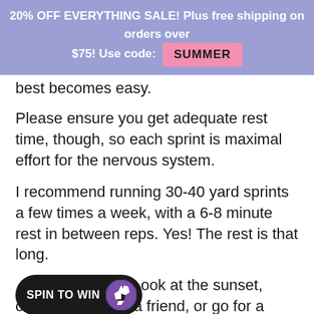20% OFF EVERYTHING SALE! Plus free shipping on orders over $75! Use code: SUMMER
...best becomes easy.
Please ensure you get adequate rest time, though, so each sprint is maximal effort for the nervous system.
I recommend running 30-40 yard sprints a few times a week, with a 6-8 minute rest in between reps. Yes! The rest is that long.
T...ook at the sunset, crack a joke with a friend, or go for a recovery walk down the pitch, then line up on the line again and go effort.